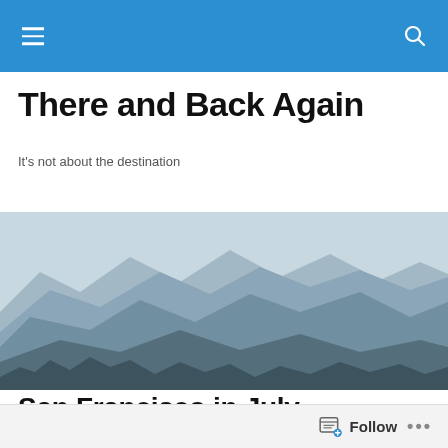Navigation bar with menu and search icons
There and Back Again
It's not about the destination
[Figure (illustration): Layered mountain range landscape in muted blue-grey tones with hazy atmosphere, silhouettes of mountains and trees in foreground]
San Francisco in July
It's the last day of February and Canadians are getting a little cranky.
Follow  •••